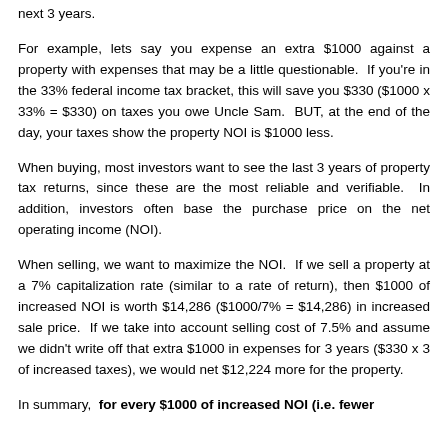next 3 years.
For example, lets say you expense an extra $1000 against a property with expenses that may be a little questionable. If you're in the 33% federal income tax bracket, this will save you $330 ($1000 x 33% = $330) on taxes you owe Uncle Sam. BUT, at the end of the day, your taxes show the property NOI is $1000 less.
When buying, most investors want to see the last 3 years of property tax returns, since these are the most reliable and verifiable. In addition, investors often base the purchase price on the net operating income (NOI).
When selling, we want to maximize the NOI. If we sell a property at a 7% capitalization rate (similar to a rate of return), then $1000 of increased NOI is worth $14,286 ($1000/7% = $14,286) in increased sale price. If we take into account selling cost of 7.5% and assume we didn't write off that extra $1000 in expenses for 3 years ($330 x 3 of increased taxes), we would net $12,224 more for the property.
In summary, for every $1000 of increased NOI (i.e. fewer